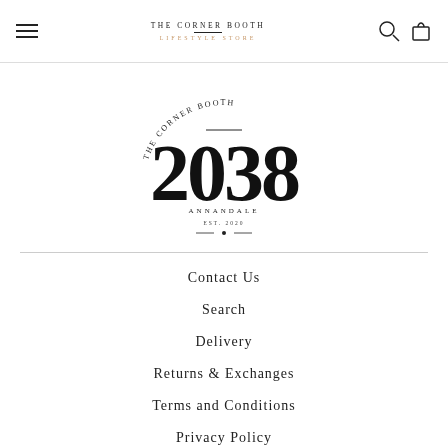[Figure (logo): The Corner Booth Lifestyle Store header logo with hamburger menu, centered text logo, and search/bag icons]
[Figure (logo): The Corner Booth 2038 Annandale circular badge logo in center of page]
Contact Us
Search
Delivery
Returns & Exchanges
Terms and Conditions
Privacy Policy